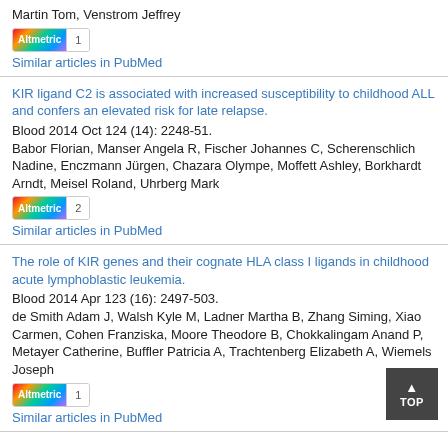Martin Tom, Venstrom Jeffrey
Altmetric 1
Similar articles in PubMed
KIR ligand C2 is associated with increased susceptibility to childhood ALL and confers an elevated risk for late relapse.
Blood 2014 Oct 124 (14): 2248-51.
Babor Florian, Manser Angela R, Fischer Johannes C, Scherenschlich Nadine, Enczmann Jürgen, Chazara Olympe, Moffett Ashley, Borkhardt Arndt, Meisel Roland, Uhrberg Mark
Altmetric 2
Similar articles in PubMed
The role of KIR genes and their cognate HLA class I ligands in childhood acute lymphoblastic leukemia.
Blood 2014 Apr 123 (16): 2497-503.
de Smith Adam J, Walsh Kyle M, Ladner Martha B, Zhang Siming, Xiao Carmen, Cohen Franziska, Moore Theodore B, Chokkalingam Anand P, Metayer Catherine, Buffler Patricia A, Trachtenberg Elizabeth A, Wiemels Joseph
Altmetric 1
Similar articles in PubMed